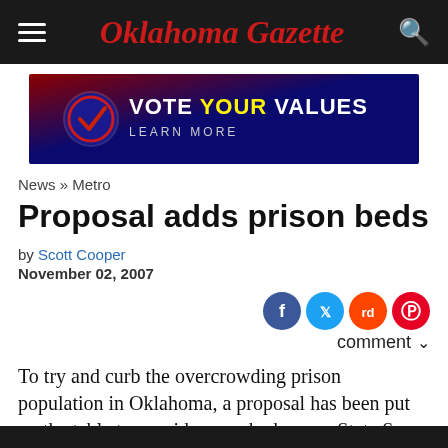Oklahoma Gazette
[Figure (infographic): Vote Your Values - Learn More advertisement banner with blue/red gradient background and checkmark logo]
News » Metro
Proposal adds prison beds
by Scott Cooper
November 02, 2007
[Figure (infographic): Social share icons: Facebook, Twitter, Reddit, Pinterest]
comment
To try and curb the overcrowding prison population in Oklahoma, a proposal has been put on the table to provide more bed space. State Sen. Richard Lerblance, D-Hartshorne, said he will introduce legislation which, if funded, would add more than 3,800